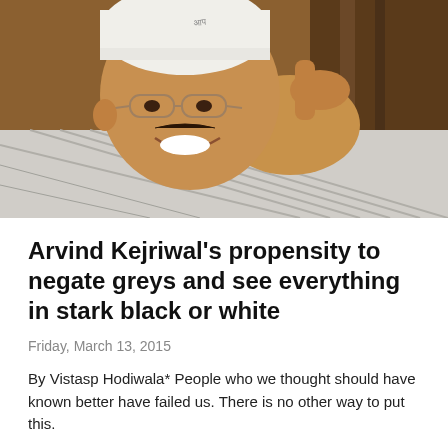[Figure (photo): A man wearing a white cap and checkered shirt, smiling, with glasses, identified as Arvind Kejriwal, seated with hand behind his head.]
Arvind Kejriwal's propensity to negate greys and see everything in stark black or white
Friday, March 13, 2015
By Vistasp Hodiwala* People who we thought should have known better have failed us. There is no other way to put this.